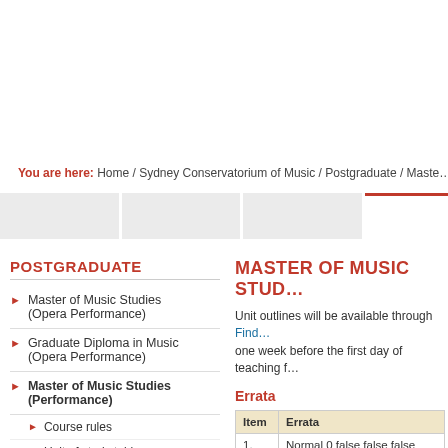You are here: Home / Sydney Conservatorium of Music / Postgraduate / Master...
POSTGRADUATE
Master of Music Studies (Opera Performance)
Graduate Diploma in Music (Opera Performance)
Master of Music Studies (Performance)
Course rules
Unit of study table
Unit of study
MASTER OF MUSIC STUD...
Unit outlines will be available through Find... one week before the first day of teaching f...
Errata
| Item | Errata |
| --- | --- |
| 1. | Normal 0 false false false EN-AU X
MCGY5610
Coordinator is Assoc Professor My... |